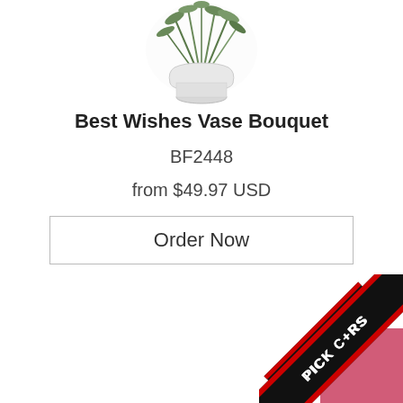[Figure (photo): Partial view of a vase bouquet with green plants/flowers in a glass vase on white background, cropped at top]
Best Wishes Vase Bouquet
BF2448
from $49.97 USD
Order Now
[Figure (illustration): Diagonal black ribbon badge with white and red text reading PICK COLORS with a plus/cross icon, overlaid on a pink/red square corner element]